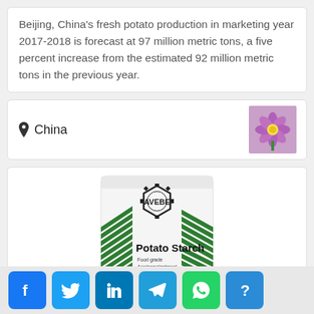Beijing, China's fresh potato production in marketing year 2017-2018 is forecast at 97 million metric tons, a five percent increase from the estimated 92 million metric tons in the previous year.
China
[Figure (photo): Small thumbnail photo of a purple potato flower]
[Figure (photo): Photo of an AVEBE Potato Starch 25 kg bag with green stripe design and multilingual text including Food grade, Aardappelzetmeel, Kartoffelstärke, Fécule de pomme de terre, Fécula de patata, and Chinese characters. Net 25 kg.]
Social sharing buttons: Facebook, Twitter, LinkedIn, Telegram, WhatsApp, Help